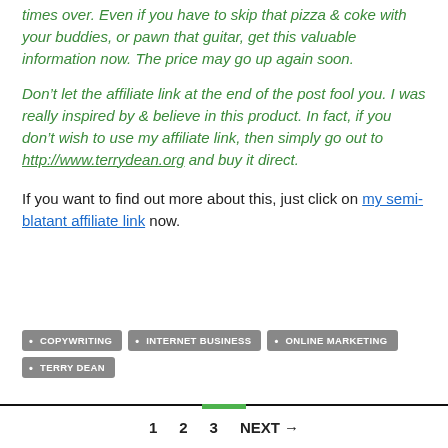times over.  Even if you have to skip that pizza & coke with your buddies, or pawn that guitar, get this valuable information now.  The price may go up again soon.
Don't let the affiliate link at the end of the post fool you.  I was really inspired by & believe in this product.  In fact, if you don't wish to use my affiliate link, then simply go out to http://www.terrydean.org and buy it direct.
If you want to find out more about this, just click on my semi-blatant affiliate link now.
COPYWRITING
INTERNET BUSINESS
ONLINE MARKETING
TERRY DEAN
1  2  3  NEXT →